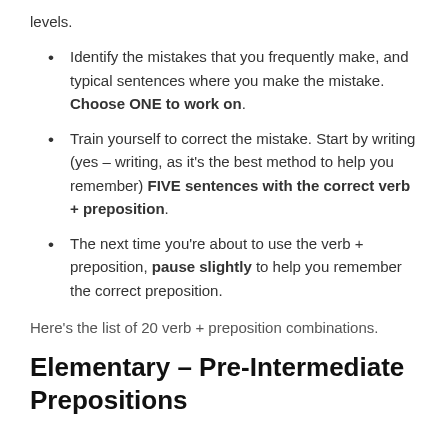levels.
Identify the mistakes that you frequently make, and typical sentences where you make the mistake. Choose ONE to work on.
Train yourself to correct the mistake. Start by writing (yes – writing, as it's the best method to help you remember) FIVE sentences with the correct verb + preposition.
The next time you're about to use the verb + preposition, pause slightly to help you remember the correct preposition.
Here's the list of 20 verb + preposition combinations.
Elementary – Pre-Intermediate Prepositions